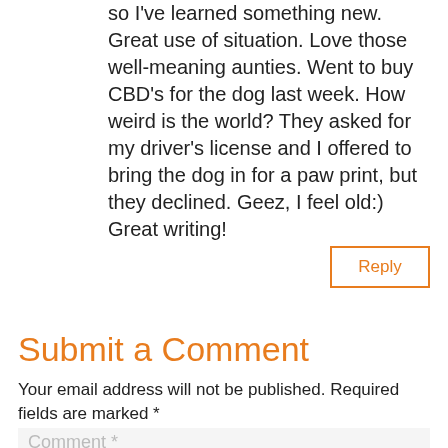so I've learned something new. Great use of situation. Love those well-meaning aunties. Went to buy CBD's for the dog last week. How weird is the world? They asked for my driver's license and I offered to bring the dog in for a paw print, but they declined. Geez, I feel old:) Great writing!
Reply
Submit a Comment
Your email address will not be published. Required fields are marked *
Comment *